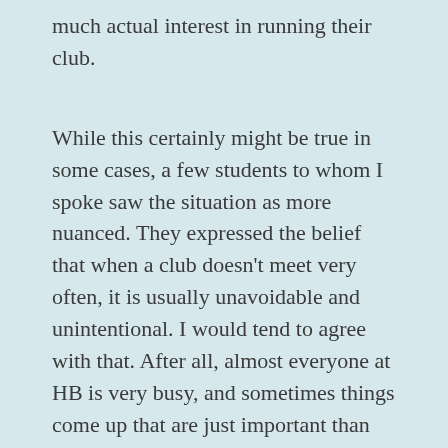much actual interest in running their club.
While this certainly might be true in some cases, a few students to whom I spoke saw the situation as more nuanced. They expressed the belief that when a club doesn't meet very often, it is usually unavoidable and unintentional. I would tend to agree with that. After all, almost everyone at HB is very busy, and sometimes things come up that are just important than holding a meeting of a club. Homework, tests, sports, and other commitments can all come together to stop any hint of club organizing in its tracks. Moreover, the people who are often the busiest are often the ones who feel the most to do the additional work of starting